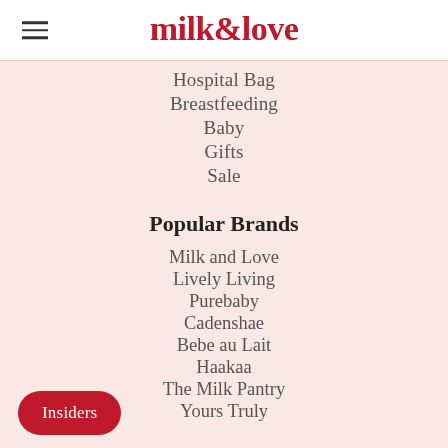milk & love
Hospital Bag
Breastfeeding
Baby
Gifts
Sale
Popular Brands
Milk and Love
Lively Living
Purebaby
Cadenshae
Bebe au Lait
Haakaa
The Milk Pantry
Yours Truly